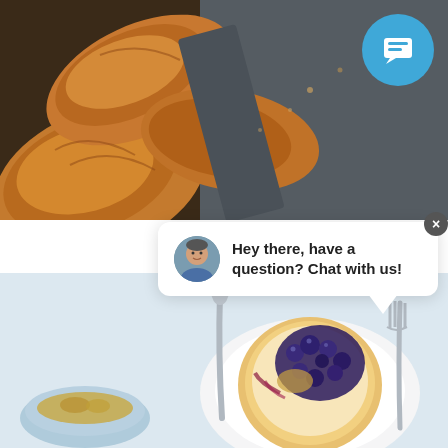[Figure (photo): Close-up photo of golden-brown croissants in a dark baking tray, viewed from above, with some crumbs visible]
[Figure (screenshot): Chat widget popup showing a blue circular chat button and a white chat bubble with avatar of a man saying 'Hey there, have a question? Chat with us!']
Proofing dough
Yeast dough is particularly suitable for bread, rolls, and pizza - it's a breeze to prepare.
[Figure (photo): Food photography showing a blueberry tart with cream on a white plate, a spoon, fork, and a bowl with granola on a light blue background]